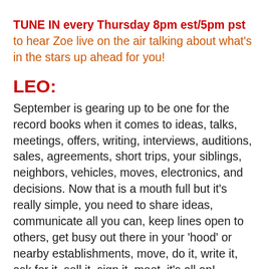TUNE IN every Thursday 8pm est/5pm pst to hear Zoe live on the air talking about what's in the stars up ahead for you!
LEO:
September is gearing up to be one for the record books when it comes to ideas, talks, meetings, offers, writing, interviews, auditions, sales, agreements, short trips, your siblings, neighbors, vehicles, moves, electronics, and decisions. Now that is a mouth full but it's really simple, you need to share ideas, communicate all you can, keep lines open to others, get busy out there in your 'hood' or nearby establishments, move, do it, write it, ask for it, sell it, sign it, meet, it's all on! Mercury shows up here on the 2nd and remains here through the 27th so this doubles the energy flow for you. The Sun moves into these arenas on the Fall Equinox on the 22nd and